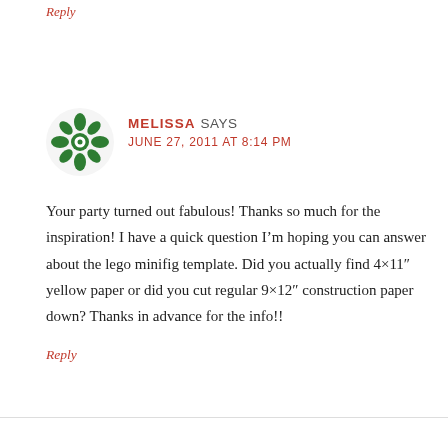Reply
[Figure (illustration): Green decorative avatar icon with cross/flower pattern, circular, used as commenter avatar.]
MELISSA SAYS
JUNE 27, 2011 AT 8:14 PM
Your party turned out fabulous! Thanks so much for the inspiration! I have a quick question I'm hoping you can answer about the lego minifig template. Did you actually find 4×11" yellow paper or did you cut regular 9×12" construction paper down? Thanks in advance for the info!!
Reply